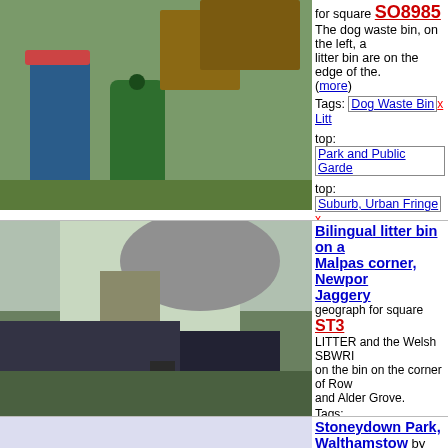[Figure (photo): Photo of dog waste bin and litter bin on grass edge]
for square SO8985
The dog waste bin, on the left, a litter bin are on the edge of the. (more)
Tags: Dog Waste Bin x  Litt
top: Park and Public Garde
top: Suburb, Urban Fringe x
Bilingual litter bin on a Malpas corner, Newpor Jaggery
geograph for square ST3
LITTER and the Welsh SBWRI on the bin on the corner of Row and Alder Grove.
Tags: Bilingual Litter Bin x
type: Geograph x  Litter Bin
subject: Quay x
top: Suburb, Urban Fringe x
top: Waste, Waste Managem
[Figure (photo): Photo of bilingual litter bin on a corner in Malpas, Newport]
Stoneydown Park, Walthamstow by Malc McDonald